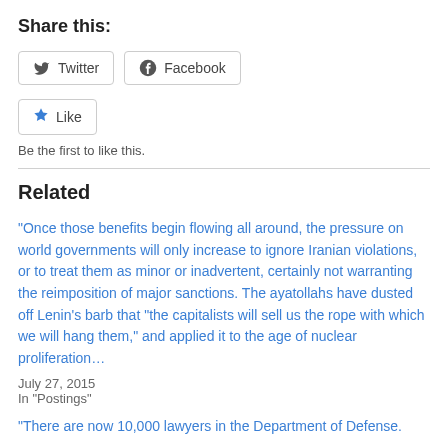Share this:
[Figure (screenshot): Social sharing buttons: Twitter and Facebook]
[Figure (screenshot): Like button with star icon]
Be the first to like this.
Related
“Once those benefits begin flowing all around, the pressure on world governments will only increase to ignore Iranian violations, or to treat them as minor or inadvertent, certainly not warranting the reimposition of major sanctions. The ayatollahs have dusted off Lenin’s barb that “the capitalists will sell us the rope with which we will hang them,” and applied it to the age of nuclear proliferation…
July 27, 2015
In "Postings"
“There are now 10,000 lawyers in the Department of Defense.